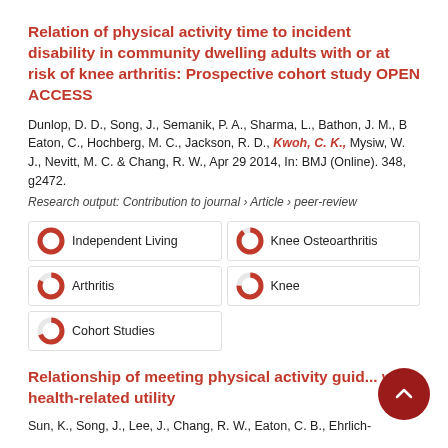Relation of physical activity time to incident disability in community dwelling adults with or at risk of knee arthritis: Prospective cohort study OPEN ACCESS
Dunlop, D. D., Song, J., Semanik, P. A., Sharma, L., Bathon, J. M., B Eaton, C., Hochberg, M. C., Jackson, R. D., Kwoh, C. K., Mysiw, W. J., Nevitt, M. C. & Chang, R. W., Apr 29 2014, In: BMJ (Online). 348, g2472.
Research output: Contribution to journal › Article › peer-review
Independent Living
Knee Osteoarthritis
Arthritis
Knee
Cohort Studies
Relationship of meeting physical activity guid... with health-related utility
Sun, K., Song, J., Lee, J., Chang, R. W., Eaton, C. B., Ehrlich-